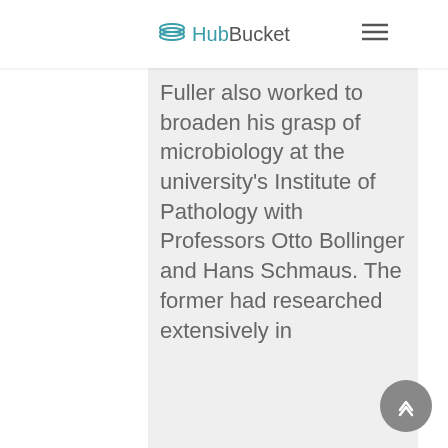HubBucket
Fuller also worked to broaden his grasp of microbiology at the university's Institute of Pathology with Professors Otto Bollinger and Hans Schmaus. The former had researched extensively in